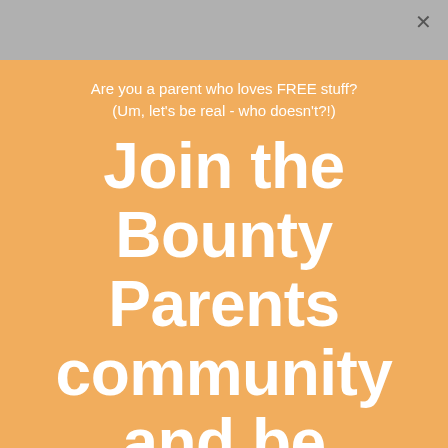Are you a parent who loves FREE stuff? (Um, let's be real - who doesn't?!)
Join the Bounty Parents community and be rewarded!